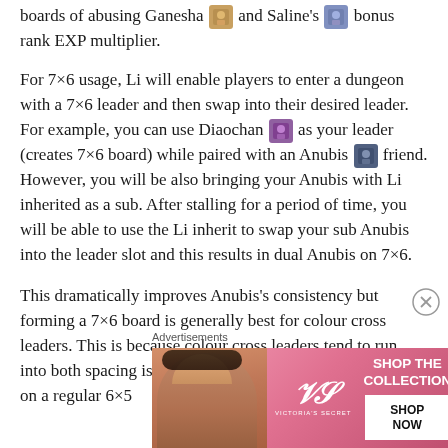boards of abusing Ganesha [img] and Saline's [img] bonus rank EXP multiplier.
For 7×6 usage, Li will enable players to enter a dungeon with a 7×6 leader and then swap into their desired leader. For example, you can use Diaochan [img] as your leader (creates 7×6 board) while paired with an Anubis [img] friend. However, you will be also bringing your Anubis with Li inherited as a sub. After stalling for a period of time, you will be able to use the Li inherit to swap your sub Anubis into the leader slot and this results in dual Anubis on 7×6.
This dramatically improves Anubis's consistency but forming a 7×6 board is generally best for colour cross leaders. This is because colour cross leaders tend to run into both spacing issues along with a lack of desired orbs on a regular 6×5
Advertisements
[Figure (illustration): Victoria's Secret advertisement banner with a woman's face on the left, Victoria's Secret VS logo in the center-left, and 'SHOP THE COLLECTION' text with a 'SHOP NOW' button on the right, on a pink/red gradient background.]